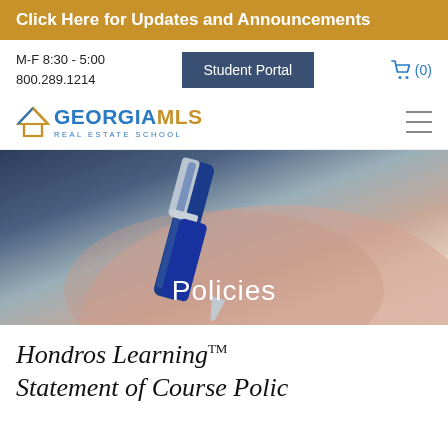Click Here for Updates and Announcements
M-F 8:30 - 5:00
800.289.1214
Student Portal
(0)
[Figure (logo): Georgia MLS Real Estate School logo with blue and gold text and triangular house roof icon]
[Figure (photo): Close-up photo of a hand holding a blue and silver pen, writing or signing. Blurred background.]
Policies
Hondros Learning™ Statement of Course Polic...